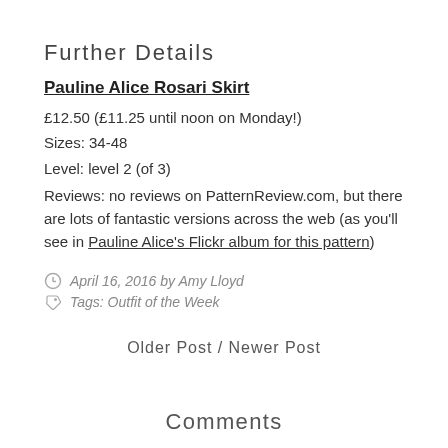Further Details
Pauline Alice Rosari Skirt
£12.50 (£11.25 until noon on Monday!)
Sizes: 34-48
Level: level 2 (of 3)
Reviews: no reviews on PatternReview.com, but there are lots of fantastic versions across the web (as you'll see in Pauline Alice's Flickr album for this pattern)
April 16, 2016 by Amy Lloyd
Tags: Outfit of the Week
Older Post / Newer Post
Comments